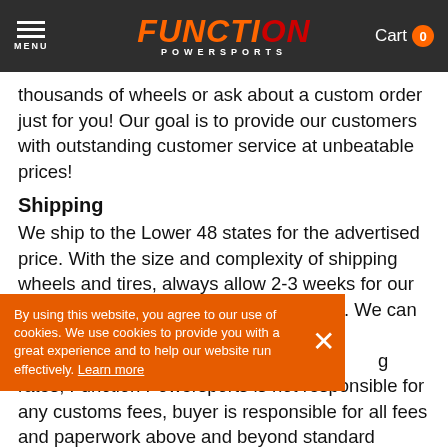FUNCTION POWERSPORTS — Menu / Cart 0
thousands of wheels or ask about a custom order just for you! Our goal is to provide our customers with outstanding customer service at unbeatable prices!
Shipping
We ship to the Lower 48 states for the advertised price. With the size and complexity of shipping wheels and tires, always allow 2-3 weeks for our normal packaging and shipping process. We can ship worldwide for an additional charge. Please note that due to international shipping rates, Function Powersports is not responsible for any customs fees, buyer is responsible for all fees and paperwork above and beyond standard freight charges. For additional assistance please reach out us at
By using this website, you agree to our use of cookies. We use cookies to provide you with a great experience and to help our website run effectively. Learn more